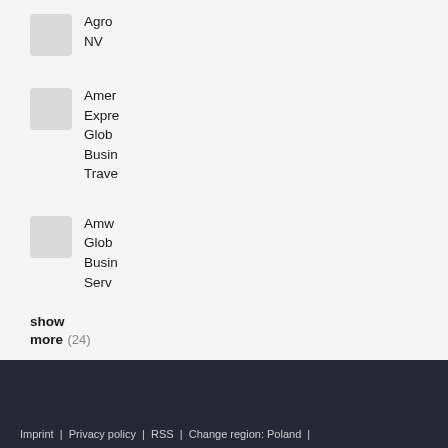Agro NV
American Express Global Business Travel
Amway Global Business Services
show more (24)
Imprint | Privacy policy | RSS | Change region: Poland |